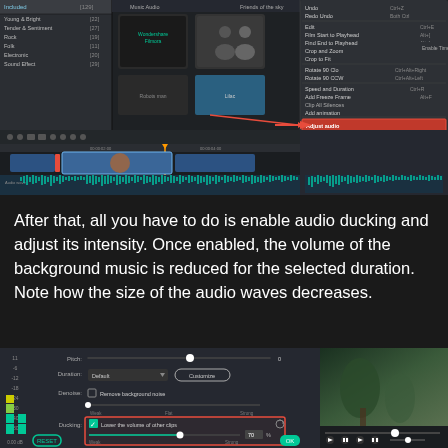[Figure (screenshot): Wondershare Filmora video editor interface showing a right-click context menu with 'Adjust audio' option highlighted in red, and the timeline below showing video and audio tracks]
After that, all you have to do is enable audio ducking and adjust its intensity. Once enabled, the volume of the background music is reduced for the selected duration. Note how the size of the audio waves decreases.
[Figure (screenshot): Wondershare Filmora audio settings panel showing Pitch, Duration (Default with Customize button), Denoise option, and Ducking section with 'Lower the volume of other clips' checkbox enabled, slider at 70%, with Weak to Strong range. Reset and OK buttons at bottom.]